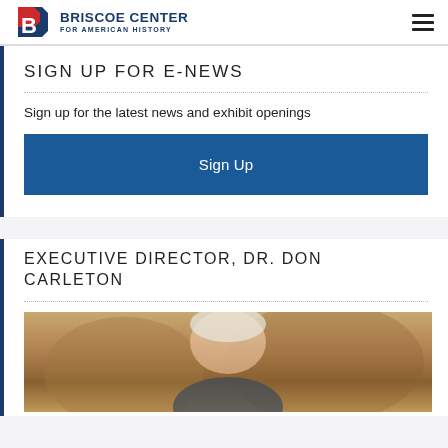BRISCOE CENTER FOR AMERICAN HISTORY
SIGN UP FOR E-NEWS
Sign up for the latest news and exhibit openings
Sign Up
EXECUTIVE DIRECTOR, DR. DON CARLETON
[Figure (photo): Photo of Dr. Don Carleton, an elderly man with white hair]